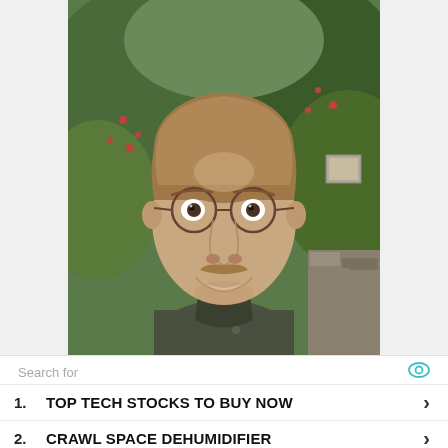[Figure (photo): Headshot photo of a young man with short light brown hair, round wire-frame glasses, and a trimmed mustache/beard, smiling, wearing a dark olive/grey button-up shirt, photographed outdoors in front of green foliage and trees with red berries.]
Search for
1. TOP TECH STOCKS TO BUY NOW ›
2. CRAWL SPACE DEHUMIDIFIER ›
Ad | Cellphone Guru